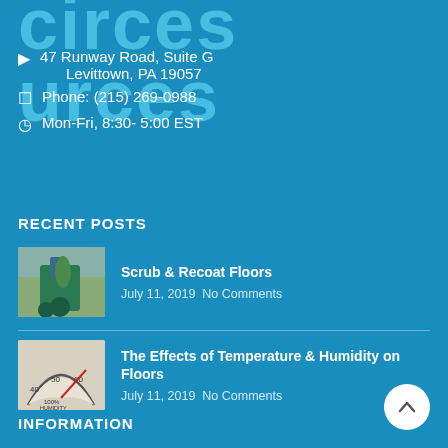circes urces
47 Runway Road, Suite G
Levittown, PA 19057
Phone: (215) 269-0988
Mon-Fri, 8:30- 5:00 EST
RECENT POSTS
[Figure (photo): Photo of a person using a floor scrubbing machine in an indoor facility]
Scrub & Recoat Floors
July 11, 2019  No Comments
[Figure (photo): Close-up photo of a humidity gauge showing 40 50 60 range and 100% HUMIDITY label]
The Effects of Temperature & Humidity on Floors
July 11, 2019  No Comments
INFORMATION